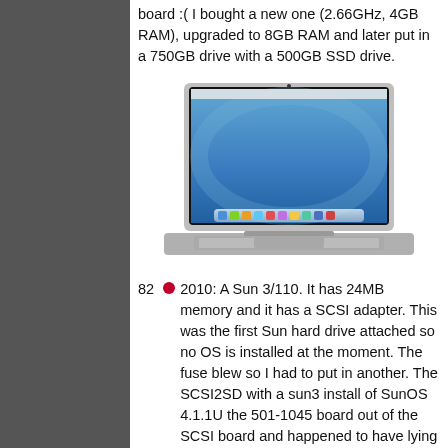board :( I bought a new one (2.66GHz, 4GB RAM), upgraded to 8GB RAM and later put in a 750GB drive with a 500GB SSD drive.
[Figure (photo): Photo of a silver Apple MacBook Pro laptop with Mac OS X desktop showing on screen]
82 ● 2010: A Sun 3/110. It has 24MB memory and it has a SCSI adapter. This was the first Sun hard drive attached so no OS is installed at the moment. The fuse blew so I had to put in another. The SCSI2SD with a sun3 install of SunOS 4.1.1U the 501-1045 board out of the SCSI board and happened to have lying around. With that, it doesn't want to boot (Bus timeout). That turned out to reseating fixed that. It can now boot SunOS 4
[Figure (photo): Partial photo of what appears to be a beige/white computer hardware component at the bottom of the page]